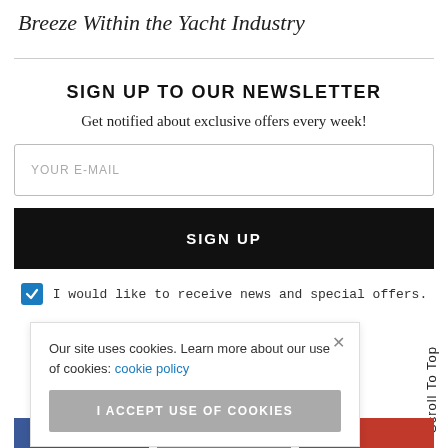Breeze Within the Yacht Industry
SIGN UP TO OUR NEWSLETTER
Get notified about exclusive offers every week!
YOUR E-MAIL
SIGN UP
I would like to receive news and special offers.
Our site uses cookies. Learn more about our use of cookies: cookie policy
I ACCEPT USE OF COOKIES
Scroll To Top